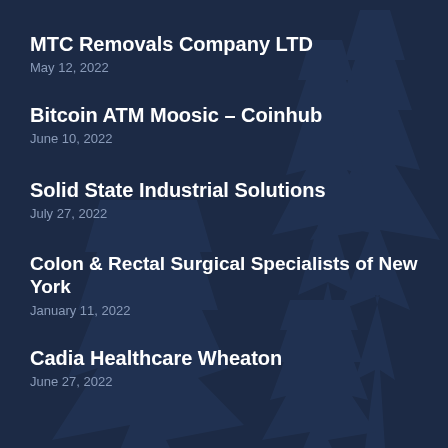MTC Removals Company LTD
May 12, 2022
Bitcoin ATM Moosic – Coinhub
June 10, 2022
Solid State Industrial Solutions
July 27, 2022
Colon & Rectal Surgical Specialists of New York
January 11, 2022
Cadia Healthcare Wheaton
June 27, 2022